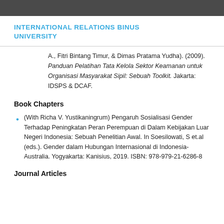INTERNATIONAL RELATIONS BINUS UNIVERSITY
A., Fitri Bintang Timur, & Dimas Pratama Yudha). (2009). Panduan Pelatihan Tata Kelola Sektor Keamanan untuk Organisasi Masyarakat Sipil: Sebuah Toolkit. Jakarta: IDSPS & DCAF.
Book Chapters
(With Richa V. Yustikaningrum) Pengaruh Sosialisasi Gender Terhadap Peningkatan Peran Perempuan di Dalam Kebijakan Luar Negeri Indonesia: Sebuah Penelitian Awal. In Soesilowati, S et.al (eds.). Gender dalam Hubungan Internasional di Indonesia-Australia. Yogyakarta: Kanisius, 2019. ISBN: 978-979-21-6286-8
Journal Articles